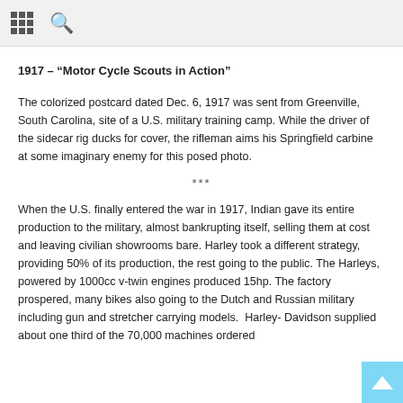grid icon and search icon
1917 – “Motor Cycle Scouts in Action”
The colorized postcard dated Dec. 6, 1917 was sent from Greenville, South Carolina, site of a U.S. military training camp. While the driver of the sidecar rig ducks for cover, the rifleman aims his Springfield carbine at some imaginary enemy for this posed photo.
***
When the U.S. finally entered the war in 1917, Indian gave its entire production to the military, almost bankrupting itself, selling them at cost and leaving civilian showrooms bare. Harley took a different strategy, providing 50% of its production, the rest going to the public. The Harleys, powered by 1000cc v-twin engines produced 15hp. The factory prospered, many bikes also going to the Dutch and Russian military including gun and stretcher carrying models.  Harley-Davidson supplied about one third of the 70,000 machines ordered